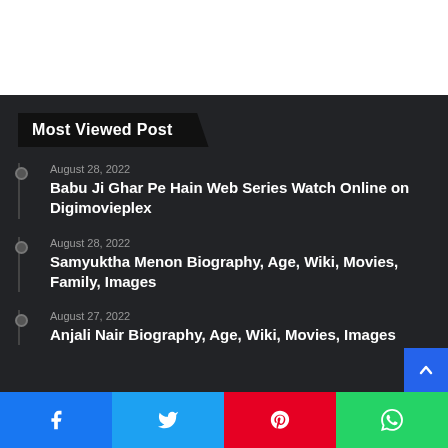Most Viewed Post
August 28, 2022
Babu Ji Ghar Pe Hain Web Series Watch Online on Digimovieplex
August 28, 2022
Samyuktha Menon Biography, Age, Wiki, Movies, Family, Images
August 27, 2022
Anjali Nair Biography, Age, Wiki, Movies, Images